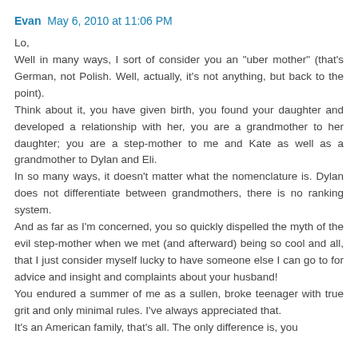Evan May 6, 2010 at 11:06 PM
Lo,
Well in many ways, I sort of consider you an "uber mother" (that's German, not Polish. Well, actually, it's not anything, but back to the point).
Think about it, you have given birth, you found your daughter and developed a relationship with her, you are a grandmother to her daughter; you are a step-mother to me and Kate as well as a grandmother to Dylan and Eli.
In so many ways, it doesn't matter what the nomenclature is. Dylan does not differentiate between grandmothers, there is no ranking system.
And as far as I'm concerned, you so quickly dispelled the myth of the evil step-mother when we met (and afterward) being so cool and all, that I just consider myself lucky to have someone else I can go to for advice and insight and complaints about your husband!
You endured a summer of me as a sullen, broke teenager with true grit and only minimal rules. I've always appreciated that.
It's an American family, that's all. The only difference is, you